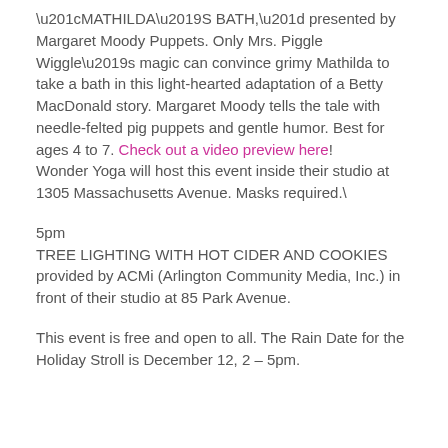“MATHILDA’S BATH,” presented by Margaret Moody Puppets. Only Mrs. Piggle Wiggle’s magic can convince grimy Mathilda to take a bath in this light-hearted adaptation of a Betty MacDonald story. Margaret Moody tells the tale with needle-felted pig puppets and gentle humor. Best for ages 4 to 7. Check out a video preview here! Wonder Yoga will host this event inside their studio at 1305 Massachusetts Avenue. Masks required.\
5pm
TREE LIGHTING WITH HOT CIDER AND COOKIES provided by ACMi (Arlington Community Media, Inc.) in front of their studio at 85 Park Avenue.
This event is free and open to all. The Rain Date for the Holiday Stroll is December 12, 2 – 5pm.